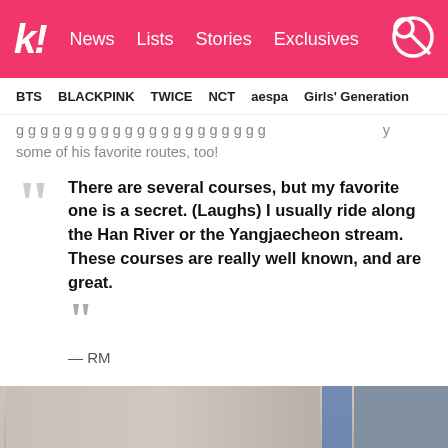k! News  Lists  Stories  Exclusives
BTS  BLACKPINK  TWICE  NCT  aespa  Girls' Generation
g g g g g                                y some of his favorite routes, too!
There are several courses, but my favorite one is a secret. (Laughs) I usually ride along the Han River or the Yangjaecheon stream. These courses are really well known, and are great.
— RM
[Figure (photo): Bottom portion of a street/building photo, partially visible]